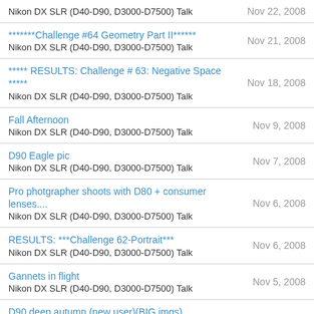Nikon DX SLR (D40-D90, D3000-D7500) Talk | Nov 22, 2008
*******Challenge #64 Geometry Part II****** | Nikon DX SLR (D40-D90, D3000-D7500) Talk | Nov 21, 2008
***** RESULTS: Challenge # 63: Negative Space ***** | Nikon DX SLR (D40-D90, D3000-D7500) Talk | Nov 18, 2008
Fall Afternoon | Nikon DX SLR (D40-D90, D3000-D7500) Talk | Nov 9, 2008
D90 Eagle pic | Nikon DX SLR (D40-D90, D3000-D7500) Talk | Nov 7, 2008
Pro photgrapher shoots with D80 + consumer lenses.... | Nikon DX SLR (D40-D90, D3000-D7500) Talk | Nov 6, 2008
RESULTS: ***Challenge 62-Portrait*** | Nikon DX SLR (D40-D90, D3000-D7500) Talk | Nov 6, 2008
Gannets in flight | Nikon DX SLR (D40-D90, D3000-D7500) Talk | Nov 5, 2008
D90 deep autumn (new user)(BIG imgs) | Nikon DX SLR (D40-D90, D3000-D7500) Talk | Nov 5, 2008